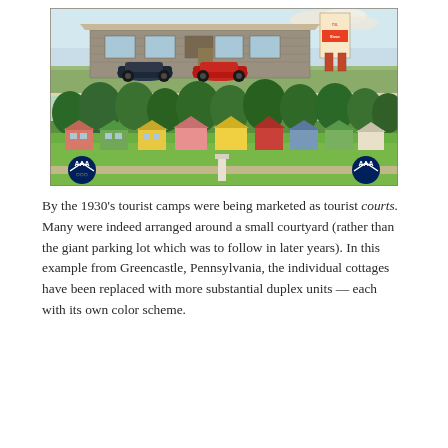[Figure (photo): A vintage linen postcard showing two views of a tourist court in Greencastle, Pennsylvania. The top panel shows the front office building, a low stone structure with signage and parked cars (including a red car). The bottom panel shows an aerial/overview of the tourist court grounds with colorful duplex cottages arranged around a large green lawn, with AAA logo badges in the lower left and lower right corners.]
By the 1930's tourist camps were being marketed as tourist courts. Many were indeed arranged around a small courtyard (rather than the giant parking lot which was to follow in later years). In this example from Greencastle, Pennsylvania, the individual cottages have been replaced with more substantial duplex units — each with its own color scheme.